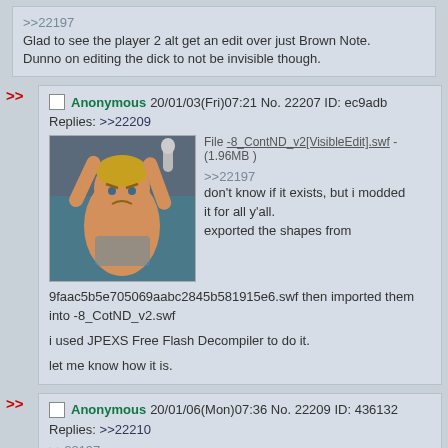>>22197
Glad to see the player 2 alt get an edit over just Brown Note.
Dunno on editing the dick to not be invisible though.
Anonymous 20/01/03(Fri)07:21 No. 22207 ID: ec9adb
Replies: >>22209
File -8_ContND_v2[VisibleEdit].swf - (1.96MB)
>>22197
don't know if it exists, but i modded it for all y'all.
exported the shapes from
9faac5b5e705069aabc2845b581915e6.swf then imported them into -8_CotND_v2.swf
i used JPEXS Free Flash Decompiler to do it.
let me know how it is.
Anonymous 20/01/06(Mon)07:36 No. 22209 ID: 436132
Replies: >>22210
>>22197